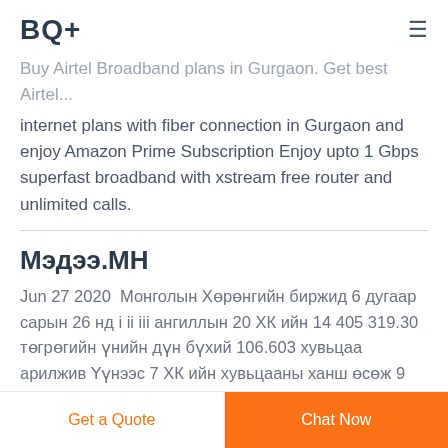BQ+
Buy Airtel Broadband plans in Gurgaon. Get best Airtel internet plans with fiber connection in Gurgaon and enjoy Amazon Prime Subscription Enjoy upto 1 Gbps superfast broadband with xstream free router and unlimited calls.
Мэдээ.МН
Jun 27 2020  Монголын Хөрөнгийн биржид 6 дугаар сарын 26 нд i ii iii ангиллын 20 ХК ийн 14 405 319.30 төгрөгийн үнийн дүн бүхий 106.603 хувьцаа арилжив Үүнээс 7 ХК ийн хувьцааны ханш өсөж 9 ХК ийн хувьцааны ханш буурсан бол 4 үнэт цаасны ханш